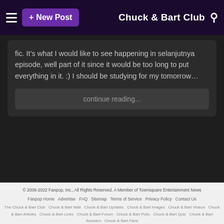+ New Post    Chuck & Bart Club
fic. It’s what I would like to see happening in selanjutnya episode, well part of it since it would be too long to put everything in it. :) I should be studying for my tomorrow...
continue reading...
© 2006-2022 Fanpop, Inc., All Rights Reserved. A Member of Townsquare Entertainment News  Fanpop Home  Advertise  FAQ  Sitemap  Terms of Service  Privacy Policy  Contact Us  The Chuck & Bart Club  Chuck & Bart Wall  Chuck & Bart Updates  Chuck & Bart Images  Chuck & Bart Videos  Chuck & Bart Articles  Chuck & Bart Links  Chuck & Bart Forum  Chuck & Bart Polls  Chuck & Bart Quiz  Chuck & Bart Answers  Chuck & Bart Fans  English  Español  हिन्दी  қаз  Français  ไทย  Deutsch  Italiano  Português  Nederlands